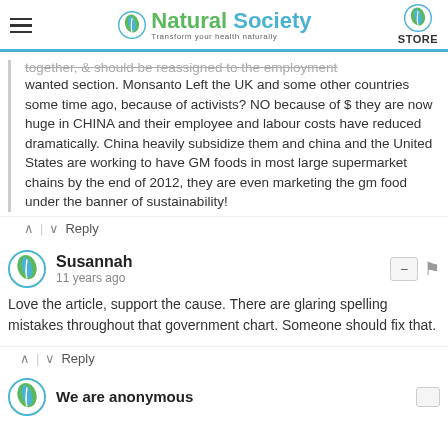Natural Society — Transform your health naturally — STORE
together, & should be reassigned to the employment wanted section. Monsanto Left the UK and some other countries some time ago, because of activists? NO because of $ they are now huge in CHINA and their employee and labour costs have reduced dramatically. China heavily subsidize them and china and the United States are working to have GM foods in most large supermarket chains by the end of 2012, they are even marketing the gm food under the banner of sustainability!
^ | ∨  Reply
Susannah
11 years ago
Love the article, support the cause. There are glaring spelling mistakes throughout that government chart. Someone should fix that.
^ | ∨  Reply
We are anonymous